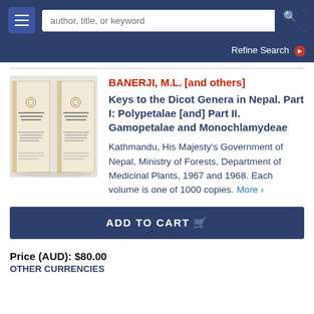author, title, or keyword [search bar] Refine Search
[Figure (photo): Two cream/beige softcover books standing upright side by side against a white background, with text on their covers too small to read clearly.]
BANERJI, M.L. [and others]
Keys to the Dicot Genera in Nepal. Part I: Polypetalae [and] Part II. Gamopetalae and Monochlamydeae
Kathmandu, His Majesty's Government of Nepal, Ministry of Forests, Department of Medicinal Plants, 1967 and 1968. Each volume is one of 1000 copies. More >
ADD TO CART
Price (AUD): $80.00
OTHER CURRENCIES